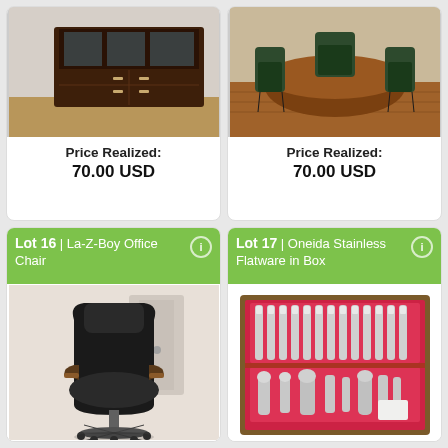[Figure (photo): Dark wood china cabinet/hutch with glass doors in a room corner]
Price Realized: 70.00 USD
[Figure (photo): Dining set with dark chairs around a table on hardwood floor]
Price Realized: 70.00 USD
Lot 16 | La-Z-Boy Office Chair
[Figure (photo): Black leather La-Z-Boy office chair with wooden armrests and wheels]
Lot 17 | Oneida Stainless Flatware in Box
[Figure (photo): Oneida stainless flatware set arranged in a wooden box with red velvet lining]